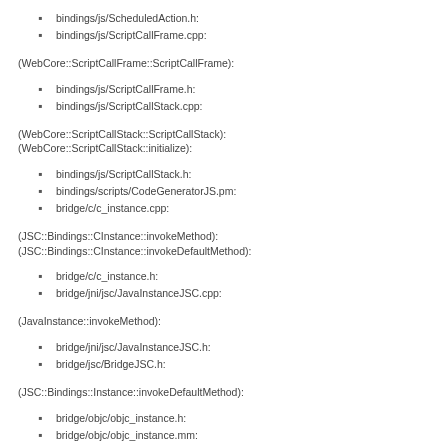bindings/js/ScheduledAction.h:
bindings/js/ScriptCallFrame.cpp:
(WebCore::ScriptCallFrame::ScriptCallFrame):
bindings/js/ScriptCallFrame.h:
bindings/js/ScriptCallStack.cpp:
(WebCore::ScriptCallStack::ScriptCallStack):
(WebCore::ScriptCallStack::initialize):
bindings/js/ScriptCallStack.h:
bindings/scripts/CodeGeneratorJS.pm:
bridge/c/c_instance.cpp:
(JSC::Bindings::CInstance::invokeMethod):
(JSC::Bindings::CInstance::invokeDefaultMethod):
bridge/c/c_instance.h:
bridge/jni/jsc/JavaInstanceJSC.cpp:
(JavaInstance::invokeMethod):
bridge/jni/jsc/JavaInstanceJSC.h:
bridge/jsc/BridgeJSC.h:
(JSC::Bindings::Instance::invokeDefaultMethod):
bridge/objc/objc_instance.h:
bridge/objc/objc_instance.mm: